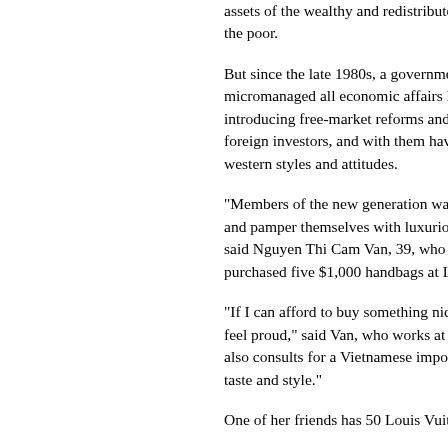assets of the wealthy and redistributed the poor.
But since the late 1980s, a government that micromanaged all economic affairs has been introducing free-market reforms and courting foreign investors, and with them have come western styles and attitudes.
"Members of the new generation want to and pamper themselves with luxurious things," said Nguyen Thi Cam Van, 39, who has purchased five $1,000 handbags at Louis
"If I can afford to buy something nice, it makes me feel proud," said Van, who works at Siemens and also consults for a Vietnamese import company on taste and style."
One of her friends has 50 Louis Vuitton b
Some of Vietnam's shopaholics are young people at corporations but still live rent-free with their state-owned companies and many have booming private sector.